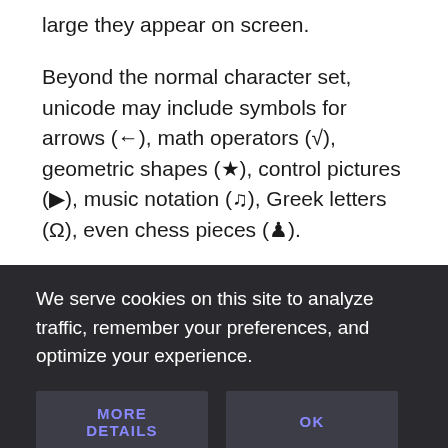large they appear on screen.
Beyond the normal character set, unicode may include symbols for arrows (←), math operators (√), geometric shapes (★), control pictures (▶), music notation (♫), Greek letters (Ω), even chess pieces (♟).
Including a unicode character is done in the
We serve cookies on this site to analyze traffic, remember your preferences, and optimize your experience.